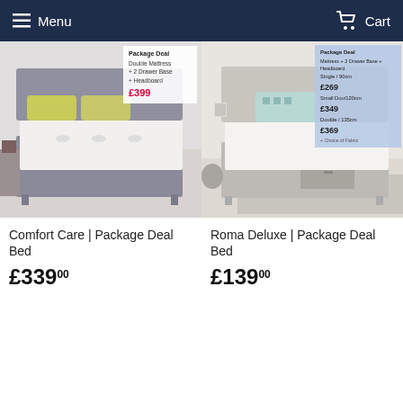Menu  Cart
[Figure (photo): Gray upholstered double bed with white mattress, yellow-green pillows, Package Deal badge showing £399]
Comfort Care | Package Deal Bed
£339.00
[Figure (photo): Light beige/taupe single divan bed with white mattress, teal pillow, package deal overlay showing prices: Single/90cm £269, Small Dou/120cm £349, Double/135cm £369]
Roma Deluxe | Package Deal Bed
£139.00